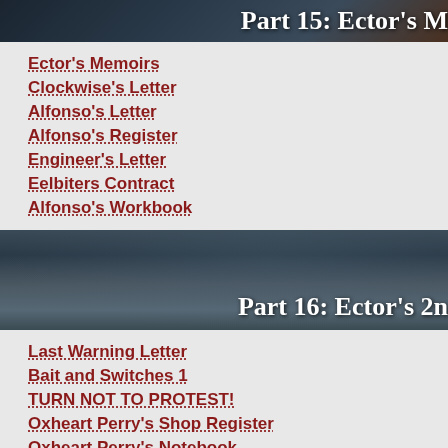[Figure (screenshot): Dark banner with text 'Part 15: Ector's M...' partially visible, showing a dark dramatic scene]
Ector's Memoirs
Clockwise's Letter
Alfonso's Letter
Alfonso's Register
Engineer's Letter
Eelbiters Contract
Alfonso's Workbook
[Figure (screenshot): Dark stormy/underwater scene banner with text 'Part 16: Ector's 2n...' partially visible, showing a figure against cloudy background]
Last Warning Letter
Bait and Switches 1
TURN NOT TO PROTEST!
Oxheart Perry's Shop Register
Oxheart Perry's Notebook